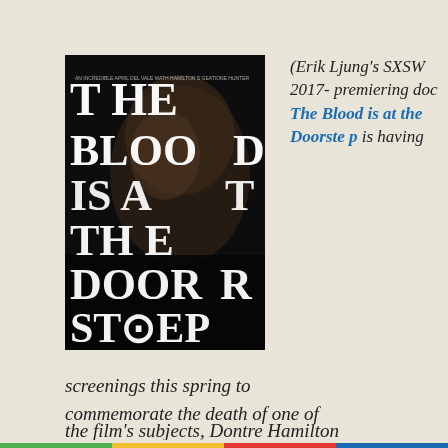[Figure (illustration): Movie poster for 'The Blood is at the Doorstep' showing a close-up of a Black man's face with large bold white serif text spelling out the title letter by letter]
(Erik Ljung's SXSW 2017- premiering doc The Blood is at the Doorstep is having screenings this spring to commemorate the death of one of the film's subjects, Dontre Hamilton…